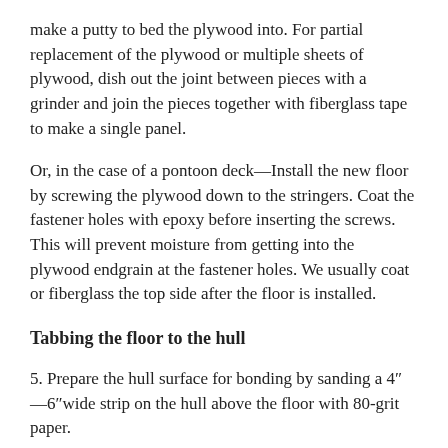make a putty to bed the plywood into. For partial replacement of the plywood or multiple sheets of plywood, dish out the joint between pieces with a grinder and join the pieces together with fiberglass tape to make a single panel.
Or, in the case of a pontoon deck—Install the new floor by screwing the plywood down to the stringers. Coat the fastener holes with epoxy before inserting the screws. This will prevent moisture from getting into the plywood endgrain at the fastener holes. We usually coat or fiberglass the top side after the floor is installed.
Tabbing the floor to the hull
5. Prepare the hull surface for bonding by sanding a 4″—6″wide strip on the hull above the floor with 80-grit paper.
6. Mix WEST SYSTEM epoxy and add either 406 Colloidal Silica or 407 Low Density filler to create a mixture with a